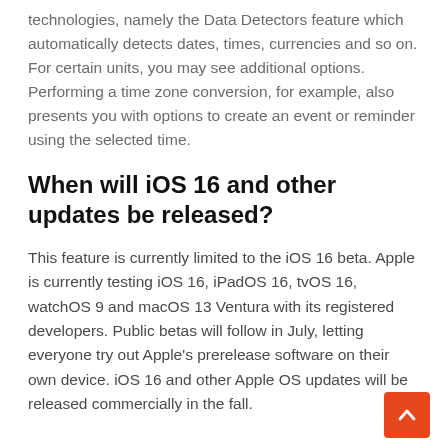technologies, namely the Data Detectors feature which automatically detects dates, times, currencies and so on. For certain units, you may see additional options. Performing a time zone conversion, for example, also presents you with options to create an event or reminder using the selected time.
When will iOS 16 and other updates be released?
This feature is currently limited to the iOS 16 beta. Apple is currently testing iOS 16, iPadOS 16, tvOS 16, watchOS 9 and macOS 13 Ventura with its registered developers. Public betas will follow in July, letting everyone try out Apple's prerelease software on their own device. iOS 16 and other Apple OS updates will be released commercially in the fall.